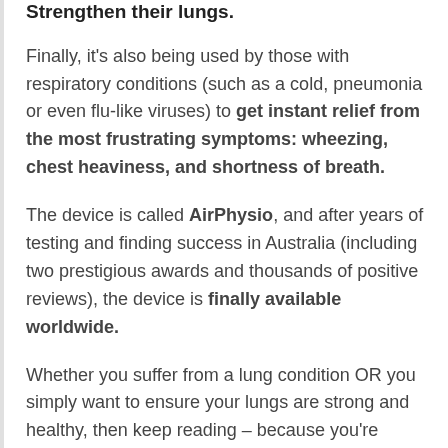Strengthen their lungs.
Finally, it’s also being used by those with respiratory conditions (such as a cold, pneumonia or even flu-like viruses) to get instant relief from the most frustrating symptoms: wheezing, chest heaviness, and shortness of breath.
The device is called AirPhysio, and after years of testing and finding success in Australia (including two prestigious awards and thousands of positive reviews), the device is finally available worldwide.
Whether you suffer from a lung condition OR you simply want to ensure your lungs are strong and healthy, then keep reading – because you’re